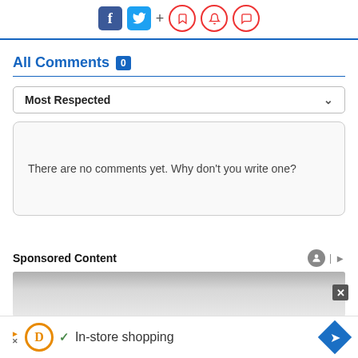[Figure (infographic): Social media sharing icons: Facebook (blue), Twitter (blue bird), plus sign, and three red-outlined icons (bookmark, bell, comment)]
All Comments 0
Most Respected
There are no comments yet. Why don't you write one?
Sponsored Content
[Figure (infographic): Sponsored content placeholder image (grey gradient) with close button]
In-store shopping